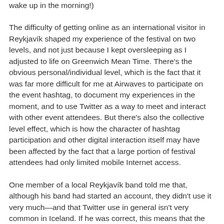wake up in the morning!)
The difficulty of getting online as an international visitor in Reykjavík shaped my experience of the festival on two levels, and not just because I kept oversleeping as I adjusted to life on Greenwich Mean Time. There's the obvious personal/individual level, which is the fact that it was far more difficult for me at Airwaves to participate on the event hashtag, to document my experiences in the moment, and to use Twitter as a way to meet and interact with other event attendees. But there's also the collective level effect, which is how the character of hashtag participation and other digital interaction itself may have been affected by the fact that a large portion of festival attendees had only limited mobile Internet access.
One member of a local Reykjavík band told me that, although his band had started an account, they didn't use it very much—and that Twitter use in general isn't very common in Iceland. If he was correct, this means that the people who